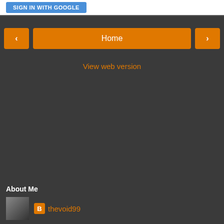[Figure (screenshot): Sign in with Google button (blue rounded rectangle) partially visible at top]
[Figure (screenshot): Navigation bar with orange left arrow button, orange Home button, and orange right arrow button]
View web version
About Me
[Figure (photo): Small avatar photo of person, partially visible]
thevoid99